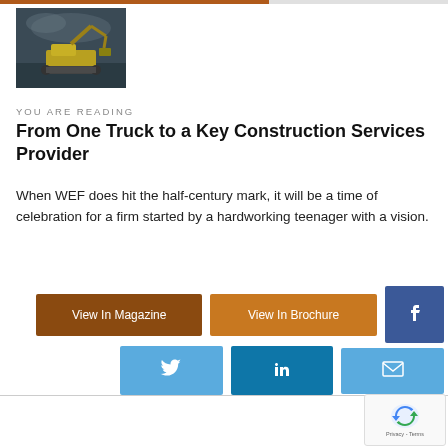[Figure (photo): Construction excavator/digger on a dark cloudy sky background]
YOU ARE READING
From One Truck to a Key Construction Services Provider
When WEF does hit the half-century mark, it will be a time of celebration for a firm started by a hardworking teenager with a vision.
[Figure (other): Social sharing buttons: View In Magazine (dark orange), View In Brochure (orange), Facebook (blue), Twitter (light blue), LinkedIn (dark blue), Email (light blue)]
[Figure (logo): reCAPTCHA badge with Privacy - Terms text]